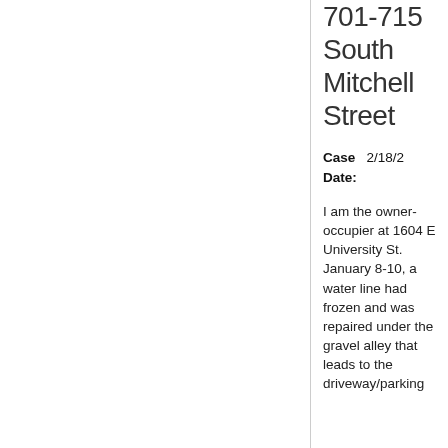701-715 South Mitchell Street
Case Date: 2/18/2...
I am the owner-occupier at 1604 E University St. January 8-10, a water line had frozen and was repaired under the gravel alley that leads to the driveway/parking